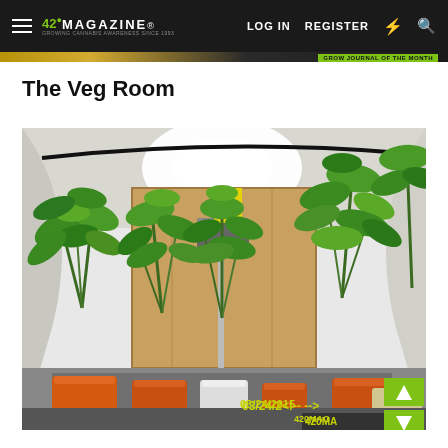420 MAGAZINE | LOG IN | REGISTER
The Veg Room
[Figure (photo): Indoor cannabis grow room with multiple large cannabis plants in orange and other colored pots. Bright grow lights hang from the ceiling. A wooden panel wall is visible in the background with a yellow sticky trap. Date watermark reads 03/24/2015. 420MAG watermark in bottom right corner.]
03/24/2015  420MAG